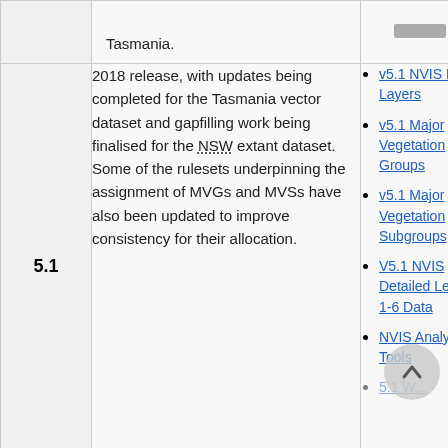| Version | Description | Links |
| --- | --- | --- |
|  | Tasmania. |  |
| 5.1 | 2018 release, with updates being completed for the Tasmania vector dataset and gapfilling work being finalised for the NSW extant dataset. Some of the rulesets underpinning the assignment of MVGs and MVSs have also been updated to improve consistency for their allocation. | v5.1 NVIS Key Layers | v5.1 Major Vegetation Groups | v5.1 Major Vegetation Subgroups | V5.1 NVIS Detailed Level 1-6 Data | NVIS Analysis Tools |